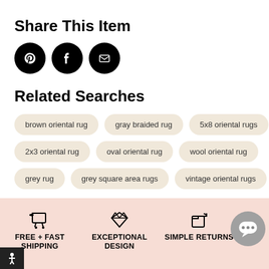Share This Item
[Figure (infographic): Three black circular social share icons: Pinterest, Facebook, and Email/Envelope]
Related Searches
brown oriental rug
gray braided rug
5x8 oriental rugs
2x3 oriental rug
oval oriental rug
wool oriental rug
grey rug
grey square area rugs
vintage oriental rugs
FREE + FAST SHIPPING | EXCEPTIONAL DESIGN | SIMPLE RETURNS